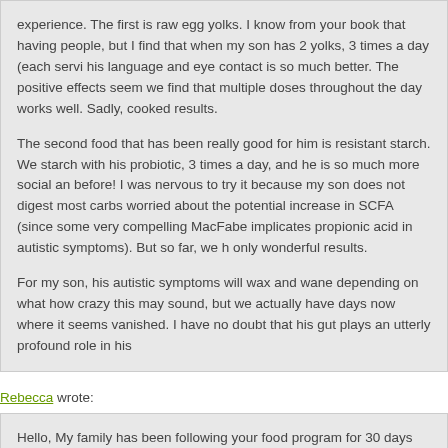experience. The first is raw egg yolks. I know from your book that having people, but I find that when my son has 2 yolks, 3 times a day (each servi his language and eye contact is so much better. The positive effects seem we find that multiple doses throughout the day works well. Sadly, cooked results.

The second food that has been really good for him is resistant starch. We starch with his probiotic, 3 times a day, and he is so much more social an before! I was nervous to try it because my son does not digest most carbs worried about the potential increase in SCFA (since some very compelling MacFabe implicates propionic acid in autistic symptoms). But so far, we h only wonderful results.

For my son, his autistic symptoms will wax and wane depending on what how crazy this may sound, but we actually have days now where it seems vanished. I have no doubt that his gut plays an utterly profound role in his
Rebecca wrote:
Hello, My family has been following your food program for 30 days and we more arthritis pain every day, no more low-level chronic headaches, more love it! … Thank you so much!! You have really changed our health for the looking forward to seeing more changes over the next years!!